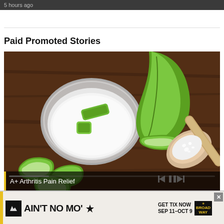5 hours ago
Paid Promoted Stories
[Figure (photo): Aloe vera plant slices and gel in a glass bowl alongside a wooden spoon with white crystals/salt, arranged on a dark wooden surface. Media player controls overlay the bottom of the image. A caption bar reads 'A+ Arthritis Pain Relief'.]
A+ Arthritis Pain Relief
[Figure (infographic): Advertisement banner for 'Ain't No Mo'' show. Yellow stripe on left, show title in bold black caps, 'GET TIX NOW SEP 11-OCT 9' on right, Broadway logo box, X close button.]